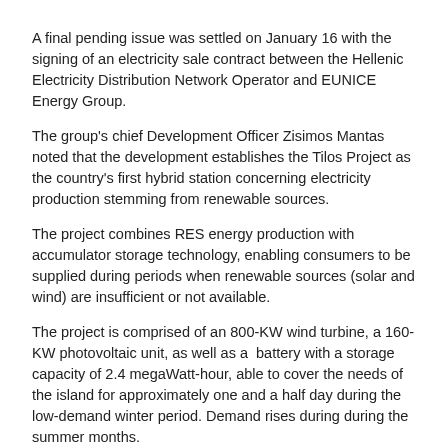A final pending issue was settled on January 16 with the signing of an electricity sale contract between the Hellenic Electricity Distribution Network Operator and EUNICE Energy Group.
The group's chief Development Officer Zisimos Mantas noted that the development establishes the Tilos Project as the country's first hybrid station concerning electricity production stemming from renewable sources.
The project combines RES energy production with accumulator storage technology, enabling consumers to be supplied during periods when renewable sources (solar and wind) are insufficient or not available.
The project is comprised of an 800-KW wind turbine, a 160-KW photovoltaic unit, as well as a  battery with a storage capacity of 2.4 megaWatt-hour, able to cover the needs of the island for approximately one and a half day during the low-demand winter period. Demand rises during during the summer months.
It is estimated that the project will cover between 80 to 85 percent of the island's energy needs throughout the year, while, on certain days, excessive energy will be channelled to the island Kos via an existing underwater interconnection.
Frequent blackouts experienced on the island in the summer are expected to be resolved once this project is launched.